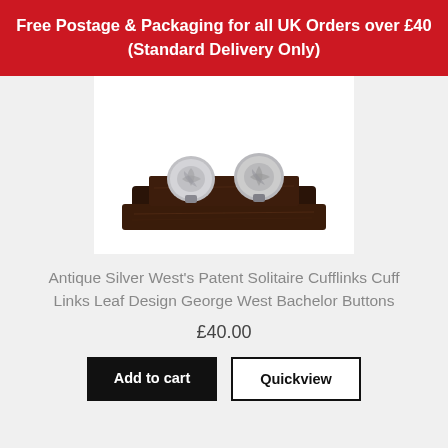Free Postage & Packaging for all UK Orders over £40 (Standard Delivery Only)
[Figure (photo): Two antique silver cufflinks with leaf/floral design displayed on a dark wood rectangular stand against a white background]
Antique Silver West's Patent Solitaire Cufflinks Cuff Links Leaf Design George West Bachelor Buttons
£40.00
Add to cart
Quickview